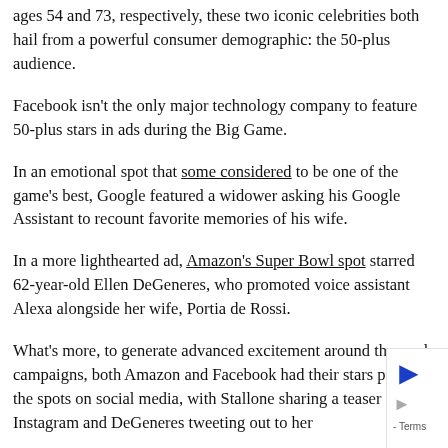ages 54 and 73, respectively, these two iconic celebrities both hail from a powerful consumer demographic: the 50-plus audience.
Facebook isn't the only major technology company to feature 50-plus stars in ads during the Big Game.
In an emotional spot that some considered to be one of the game's best, Google featured a widower asking his Google Assistant to recount favorite memories of his wife.
In a more lighthearted ad, Amazon's Super Bowl spot starred 62-year-old Ellen DeGeneres, who promoted voice assistant Alexa alongside her wife, Portia de Rossi.
What's more, to generate advanced excitement around these ad campaigns, both Amazon and Facebook had their stars promote the spots on social media, with Stallone sharing a teaser on his Instagram and DeGeneres tweeting out to her